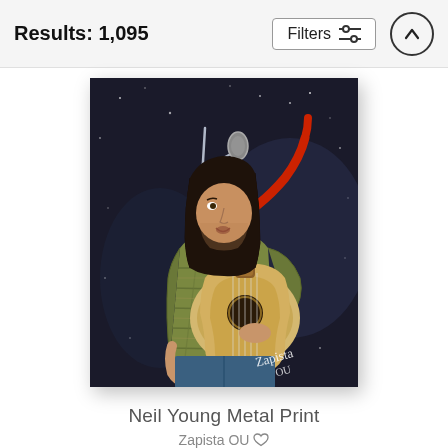Results: 1,095
[Figure (screenshot): Filters button with sliders icon and up arrow circle button in top navigation bar]
[Figure (illustration): Digital illustration / metal print of Neil Young playing guitar at a microphone, wearing a plaid shirt with red guitar strap, dark starry background with signature]
Neil Young Metal Print
Zapista OU